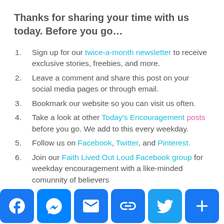Thanks for sharing your time with us today. Before you go…
Sign up for our twice-a-month newsletter to receive exclusive stories, freebies, and more.
Leave a comment and share this post on your social media pages or through email.
Bookmark our website so you can visit us often.
Take a look at other Today's Encouragement posts before you go. We add to this every weekday.
Follow us on Facebook, Twitter, and Pinterest.
Join our Faith Lived Out Loud Facebook group for weekday encouragement with a like-minded comunnity of believers
[Figure (infographic): Social sharing bar with icons for Facebook, Messenger, Email, Link, Twitter, and Plus]